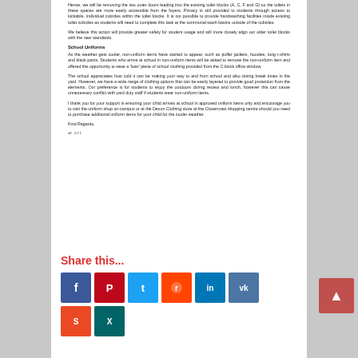Hence, we will be removing the two outer doors leading into the existing toilet blocks (A, C, F and G) so the toilets in these spaces are more easily accessible from the foyers. Privacy is still provided to students through access to lockable, individual cubicles within the toilet blocks. It is not possible to provide handwashing facilities inside existing toilet cubicles as students will need to complete this task at the communal wash basins outside of the cubicles.
We believe this action will provide greater safety for student usage and will more closely align our older toilet blocks with the new standards.
School Uniforms
As the weather gets cooler, non-uniform items have started to appear, such as puffer jackets, hoodies, long t-shirts and black pants. Students who arrive at school in non-uniform items will be asked to remove the non-uniform item and offered the opportunity to wear a 'loan' piece of school clothing provided from the C block office window.
The school appreciates how cold it can be making your way to and from school and also during break times in the yard. However, we have a wide range of clothing options that can be easily layered to provide good protection from the elements. Our preference is for students to enjoy the outdoors during recess and lunch, however this can cause unnecessary conflict with yard duty staff if students wear non-uniform items.
I thank you for your support in ensuring your child arrives at school in approved uniform items only and encourage you to visit the uniform shop on-campus or at the Devon Clothing store at the Clovercrast shopping centre should you need to purchase additional uniform items for your child for the cooler weather.
Kind Regards,
[Figure (illustration): Handwritten signature]
Share this...
[Figure (infographic): Social media share icons: Facebook, Pinterest, Twitter, Reddit, LinkedIn, VK, StumbleUpon, Xing]